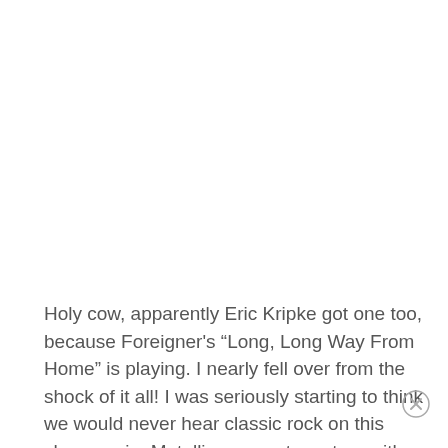Holy cow, apparently Eric Kripke got one too, because Foreigner's “Long, Long Way From Home” is playing. I nearly fell over from the shock of it all! I was seriously starting to think we would never hear classic rock on this show again. Metallicar purrs to a stop, with a strange Deanish looking character in the passenger seat, and we